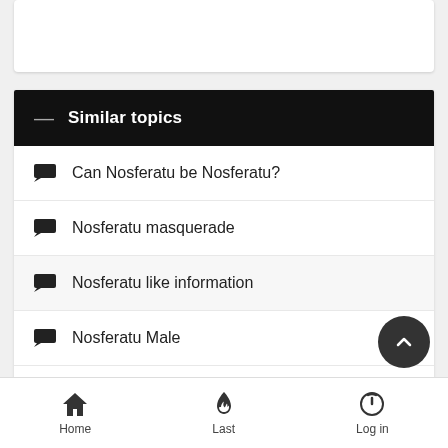[Figure (screenshot): Top white card area, partially visible]
Similar topics
Can Nosferatu be Nosferatu?
Nosferatu masquerade
Nosferatu like information
Nosferatu Male
Bordeaux's Nosferatu
Home   Last   Log in